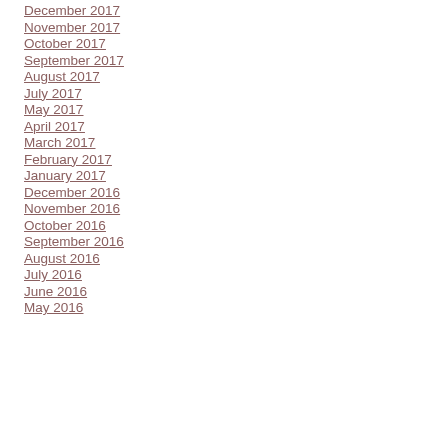December 2017
November 2017
October 2017
September 2017
August 2017
July 2017
May 2017
April 2017
March 2017
February 2017
January 2017
December 2016
November 2016
October 2016
September 2016
August 2016
July 2016
June 2016
May 2016